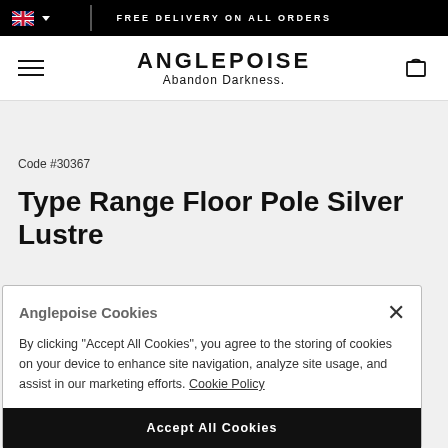FREE DELIVERY ON ALL ORDERS
ANGLEPOISE
Abandon Darkness.
Code #30367
Type Range Floor Pole Silver Lustre
Anglepoise Cookies
By clicking "Accept All Cookies", you agree to the storing of cookies on your device to enhance site navigation, analyze site usage, and assist in our marketing efforts. Cookie Policy
Accept All Cookies